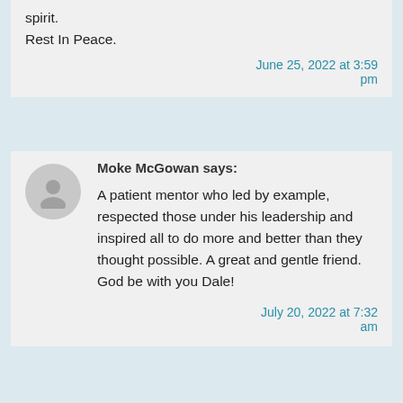spirit.
Rest In Peace.
June 25, 2022 at 3:59 pm
Moke McGowan says:
A patient mentor who led by example, respected those under his leadership and inspired all to do more and better than they thought possible. A great and gentle friend. God be with you Dale!
July 20, 2022 at 7:32 am